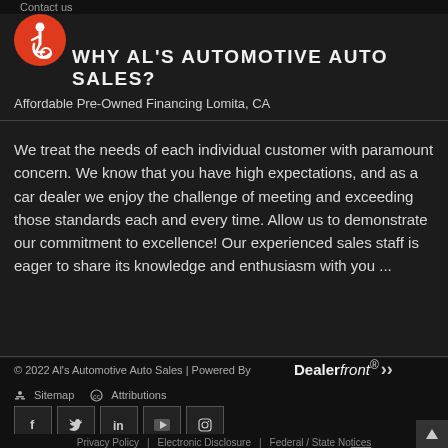Contact us
[Figure (logo): Accessibility icon - orange circle with white wheelchair user symbol]
WHY AL'S AUTOMOTIVE AUTO SALES?
Affordable Pre-Owned Financing Lomita, CA
We treat the needs of each individual customer with paramount concern. We know that you have high expectations, and as a car dealer we enjoy the challenge of meeting and exceeding those standards each and every time. Allow us to demonstrate our commitment to excellence! Our experienced sales staff is eager to share its knowledge and enthusiasm with you ...
© 2022 Al's Automotive Auto Sales | Powered By Dealerfront
Sitemap   Attributions
Privacy Policy | Electronic Disclosure | Federal / State Notices